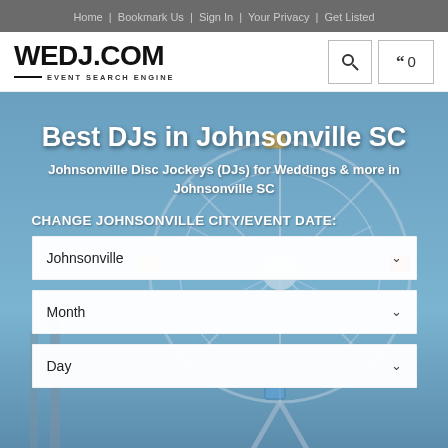Home | Bookmark Us | Sign In | Your Privacy | Get Listed
[Figure (logo): WEDJ.COM EVENT SEARCH ENGINE logo with search icon and quote button showing 0]
[Figure (photo): Background photo of a ferris wheel against a blue sky]
Best DJs in Johnsonville SC
Johnsonville Disc Jockeys (DJs) for Weddings & more in Johnsonville SC
CHANGE JOHNSONVILLE CITY/EVENT DATE:
Johnsonville
Month
Day